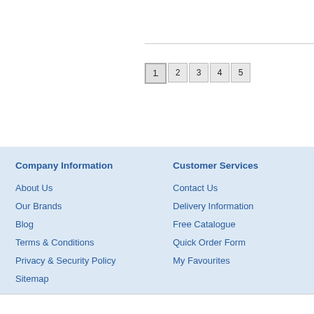1 2 3 4 5
Company Information
About Us
Our Brands
Blog
Terms & Conditions
Privacy & Security Policy
Sitemap
Customer Services
Contact Us
Delivery Information
Free Catalogue
Quick Order Form
My Favourites